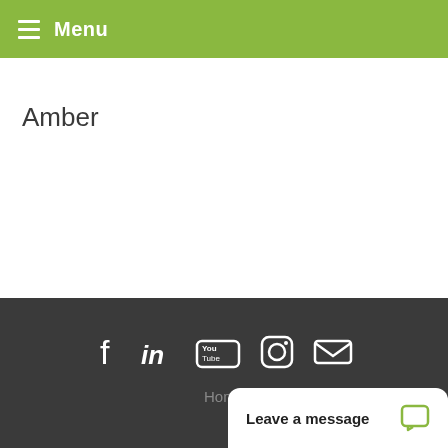Menu
Amber
[Figure (other): Social media icons row: Facebook, LinkedIn, YouTube, Instagram, Email]
Home
Leave a message